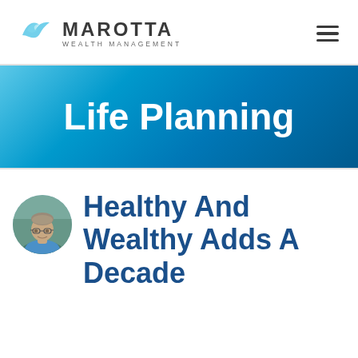[Figure (logo): Marotta Wealth Management logo with teal bird/wave graphic and text]
Life Planning
[Figure (photo): Circular headshot photo of a middle-aged man wearing glasses and a blue shirt, outdoors]
Healthy And Wealthy Adds A Decade